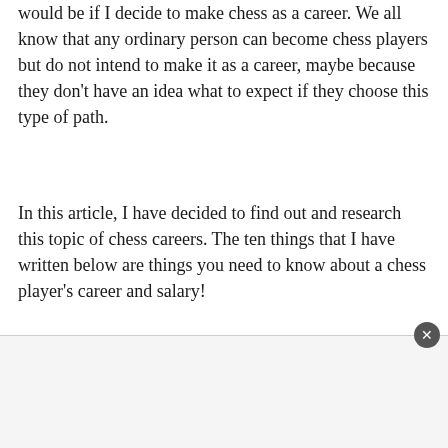would be if I decide to make chess as a career. We all know that any ordinary person can become chess players but do not intend to make it as a career, maybe because they don't have an idea what to expect if they choose this type of path.
In this article, I have decided to find out and research this topic of chess careers. The ten things that I have written below are things you need to know about a chess player's career and salary!